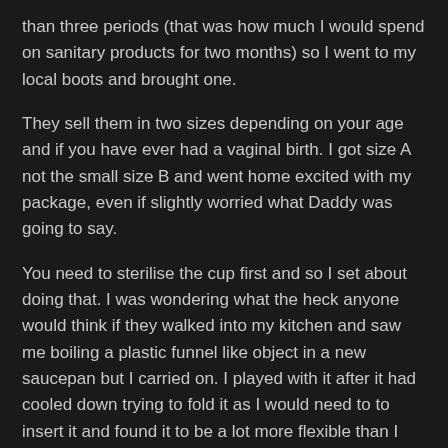than three periods (that was how much I would spend on sanitary products for two months) so I went to my local boots and brought one.
They sell them in two sizes depending on your age and if you have ever had a vaginal birth. I got size A not the small size B and went home excited with my package, even if slightly worried what Daddy was going to say.
You need to sterilise the cup first and so I set about doing that. I was wondering what the heck anyone would think if they walked into my kitchen and saw me boiling a plastic funnel like object in a new saucepan but I carried on. I played with it after it had cooled down trying to fold it as I would need to to insert it and found it to be a lot more flexible than I had thought it would be.
Finally came the time for me to use it for the first time.